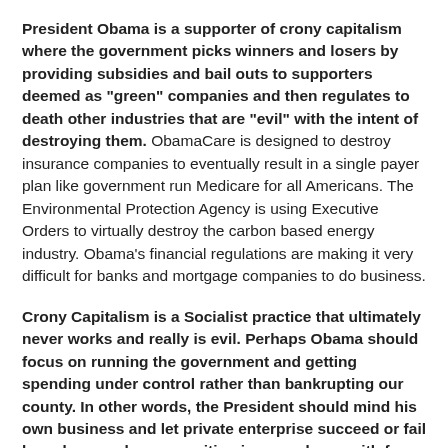President Obama is a supporter of crony capitalism where the government picks winners and losers by providing subsidies and bail outs to supporters deemed as "green" companies and then regulates to death other industries that are "evil" with the intent of destroying them. ObamaCare is designed to destroy insurance companies to eventually result in a single payer plan like government run Medicare for all Americans. The Environmental Protection Agency is using Executive Orders to virtually destroy the carbon based energy industry. Obama's financial regulations are making it very difficult for banks and mortgage companies to do business.
Crony Capitalism is a Socialist practice that ultimately never works and really is evil. Perhaps Obama should focus on running the government and getting spending under control rather than bankrupting our county. In other words, the President should mind his own business and let private enterprise succeed or fail based on a value proposition in accordance with free market capitalism, not government intervention or direction.